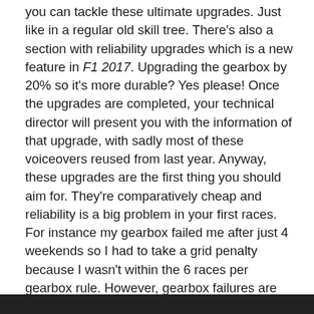you can tackle these ultimate upgrades. Just like in a regular old skill tree. There's also a section with reliability upgrades which is a new feature in F1 2017. Upgrading the gearbox by 20% so it's more durable? Yes please! Once the upgrades are completed, your technical director will present you with the information of that upgrade, with sadly most of these voiceovers reused from last year. Anyway, these upgrades are the first thing you should aim for. They're comparatively cheap and reliability is a big problem in your first races. For instance my gearbox failed me after just 4 weekends so I had to take a grid penalty because I wasn't within the 6 races per gearbox rule. However, gearbox failures are still somewhat bugged. Your mechanic will tell you that you've lost one of your gears which is all fine and dandy, but once you switch to a new one, the broken gear might still be broken. After a while it will then just randomly appear. For the heck of it, I changed back to the old gearbox and what do you know, it fixed itself only to break down again after a few laps.